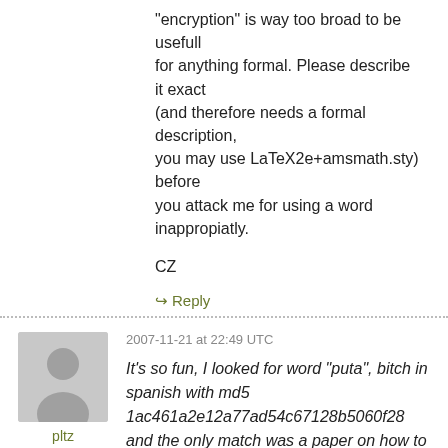“encryption” is way too broad to be usefull for anything formal. Please describe it exact (and therefore needs a formal description, you may use LaTeX2e+amsmath.sty) before you attack me for using a word inappropiatly.

CZ
↳ Reply
2007-11-21 at 22:49 UTC
pltz
It’s so fun, I looked for word “puta”, bitch in spanish with md5 1ac461a2e12a77ad54c67128b5060f28 and the only match was a paper on how to use md5 passwords to protect acces 😀